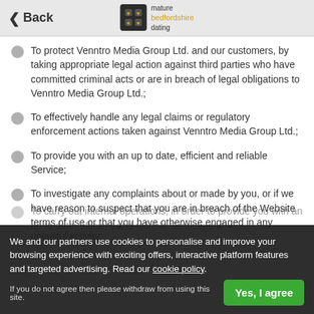Back | mature bedfordshire dating
To protect Venntro Media Group Ltd. and our customers, by taking appropriate legal action against third parties who have committed criminal acts or are in breach of legal obligations to Venntro Media Group Ltd.;
To effectively handle any legal claims or regulatory enforcement actions taken against Venntro Media Group Ltd.;
To provide you with an up to date, efficient and reliable Service;
To investigate any complaints about or made by you, or if we have reason to suspect that you are in breach of the Website terms of use or that you have otherwise engaged in any unlawful activity;
To carry out internal operations, in order to provide you with an up to date, efficient and reliable Service; and
We and our partners use cookies to personalise and improve your browsing experience with exciting offers, interactive platform features and targeted advertising. Read our cookie policy.
If you do not agree then please withdraw from using this site.